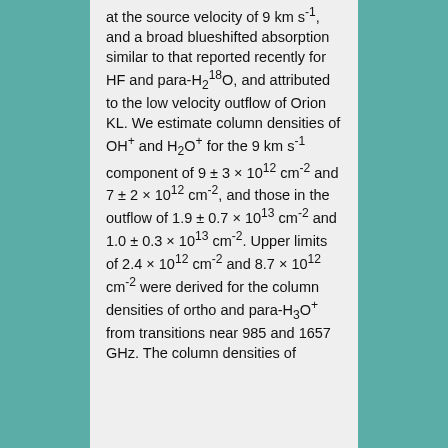at the source velocity of 9 km s-1, and a broad blueshifted absorption similar to that reported recently for HF and para-H2^18O, and attributed to the low velocity outflow of Orion KL. We estimate column densities of OH+ and H2O+ for the 9 km s-1 component of 9 ± 3 × 10^12 cm-2 and 7 ± 2 × 10^12 cm-2, and those in the outflow of 1.9 ± 0.7 × 10^13 cm-2 and 1.0 ± 0.3 × 10^13 cm-2. Upper limits of 2.4 × 10^12 cm-2 and 8.7 × 10^12 cm-2 were derived for the column densities of ortho and para-H3O+ from transitions near 985 and 1657 GHz. The column densities of